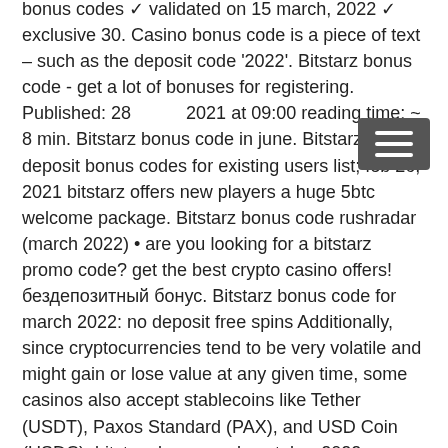bonus codes ✓ validated on 15 march, 2022 ✓ exclusive 30. Casino bonus code is a piece of text – such as the deposit code '2022'. Bitstarz bonus code - get a lot of bonuses for registering. Published: 28 2021 at 09:00 reading time: ~ 8 min. Bitstarz bonus code in june. Bitstarz no deposit bonus codes for existing users list; feb 26, 2021 bitstarz offers new players a huge 5btc welcome package. Bitstarz bonus code rushradar (march 2022) • are you looking for a bitstarz promo code? get the best crypto casino offers! бездепозитный бонус. Bitstarz bonus code for march 2022: no deposit free spins Additionally, since cryptocurrencies tend to be very volatile and might gain or lose value at any given time, some casinos also accept stablecoins like Tether (USDT), Paxos Standard (PAX), and USD Coin (USDC), bitstarz bonus code october 2022.
Make a first deposit and there are more